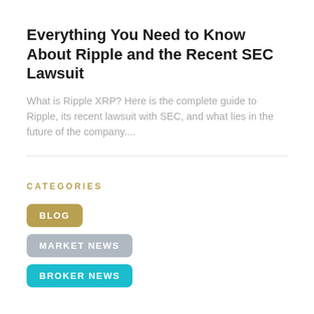Everything You Need to Know About Ripple and the Recent SEC Lawsuit
What is Ripple XRP? Here is the complete guide to Ripple, its recent lawsuit with SEC, and what lies in the future of the company....
CATEGORIES
BLOG
MARKET NEWS
BROKER NEWS